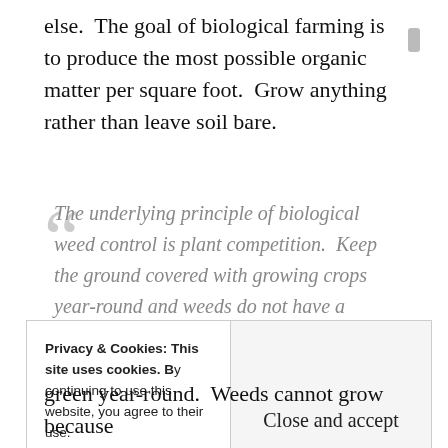else.  The goal of biological farming is to produce the most possible organic matter per square foot.  Grow anything rather than leave soil bare.
The underlying principle of biological weed control is plant competition.  Keep the ground covered with growing crops year-round and weeds do not have a chance to get established.  Never leave the soil bare, not even for a single day.
Privacy & Cookies: This site uses cookies. By continuing to use this website, you agree to their use. To find out more, including how to control cookies, see here: Cookie Policy
Close and accept
green year-round.  Weeds cannot grow because